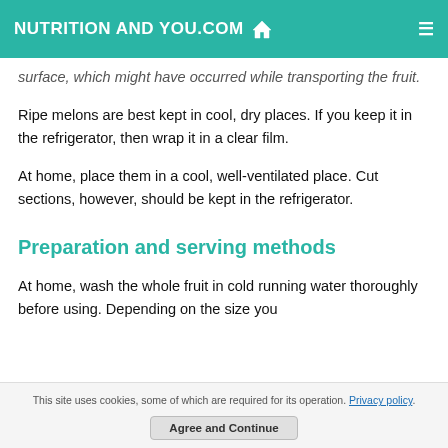NUTRITION AND YOU.COM
surface, which might have occurred while transporting the fruit.
Ripe melons are best kept in cool, dry places. If you keep it in the refrigerator, then wrap it in a clear film.
At home, place them in a cool, well-ventilated place. Cut sections, however, should be kept in the refrigerator.
Preparation and serving methods
At home, wash the whole fruit in cold running water thoroughly before using. Depending on the size you
This site uses cookies, some of which are required for its operation. Privacy policy.
Agree and Continue